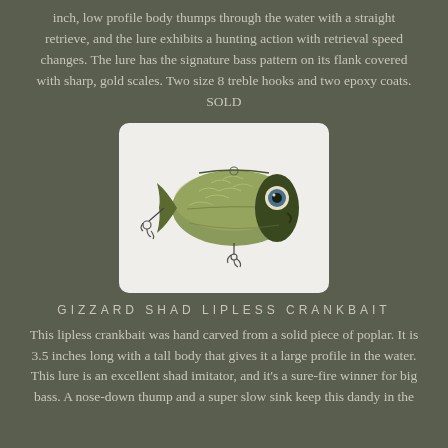inch, low profile body thumps through the water with a straight retrieve, and the lure exhibits a hunting action with retrieval speed changes. The lure has the signature bass pattern on its flank covered with sharp, gold scales. Two size 8 treble hooks and two epoxy coats. SOLD
[Figure (photo): A fish lure — a lipless crankbait with an olive/gold body and fish eye, with treble hooks at tail and belly, photographed against white background.]
GIZZARD SHAD LIPLESS CRANKBAIT
This lipless crankbait was hand carved from a solid piece of poplar. It is 3.5 inches long with a tall body that gives it a large profile in the water. This lure is an excellent shad imitator, and it's a sure-fire winner for big bass. A nose-down thump and a super slow sink keep this dandy in the